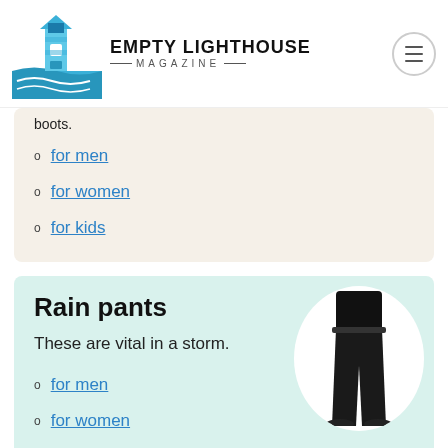EMPTY LIGHTHOUSE MAGAZINE
boots.
for men
for women
for kids
Rain pants
These are vital in a storm.
[Figure (photo): Person wearing black rain pants and black shoes, shown from waist down]
for men
for women
Waterproof
[Figure (photo): Waterproof bag/case with yellow straps]